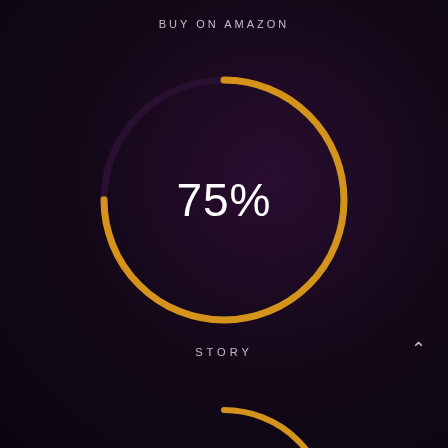BUY ON AMAZON
[Figure (donut-chart): 75%]
STORY
[Figure (donut-chart): Partially visible donut chart at bottom of screen, same style as main chart]